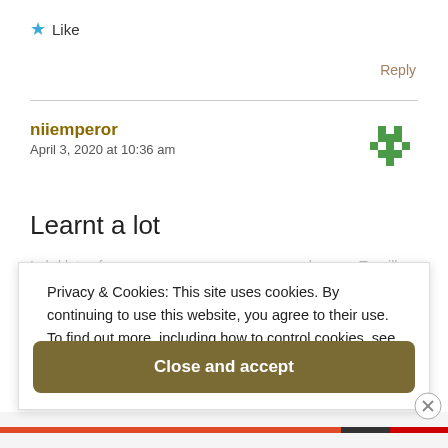★ Like
Reply
niiemperor
April 3, 2020 at 10:36 am
Learnt a lot
Privacy & Cookies: This site uses cookies. By continuing to use this website, you agree to their use.
To find out more, including how to control cookies, see here:
Cookie Policy
Close and accept